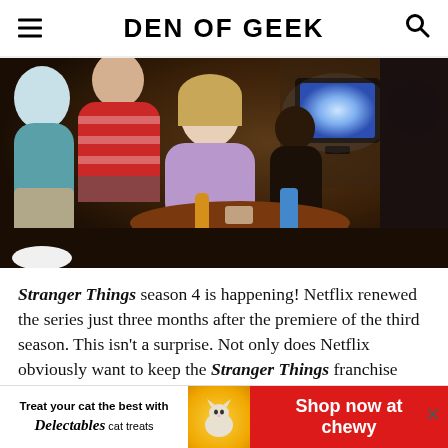DEN OF GEEK
[Figure (photo): Scene from Stranger Things showing kids sitting around a wooden table in a dimly lit room with a vintage TV glowing in the background]
Stranger Things season 4 is happening! Netflix renewed the series just three months after the premiere of the third season. This isn't a surprise. Not only does Netflix obviously want to keep the Stranger Things franchise going, but so do The Duffer Brothers and all the other
[Figure (other): Advertisement banner: Treat your cat the best with Delectables cat treats - Shop now at Chewy]